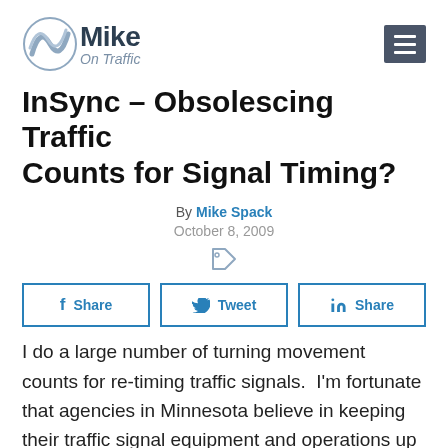Mike On Traffic
InSync – Obsolescing Traffic Counts for Signal Timing?
By Mike Spack
October 8, 2009
I do a large number of turning movement counts for re-timing traffic signals.  I'm fortunate that agencies in Minnesota believe in keeping their traffic signal equipment and operations up to